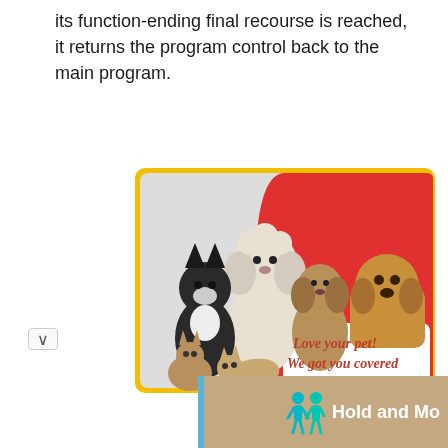its function-ending final recourse is reached, it returns the program control back to the main program.
[Figure (illustration): Pet insurance advertisement showing a French bulldog, white poodle, terrier mix, cats, and a golden/tan dog peeking over a white banner on a red background with yellow border. Text reads 'Love your pet! We got you covered']
[Figure (screenshot): Partial UI bar showing 'Hold and Mo[ve]' text with blue accent and teal/cyan icon figures on a tan/beige background]